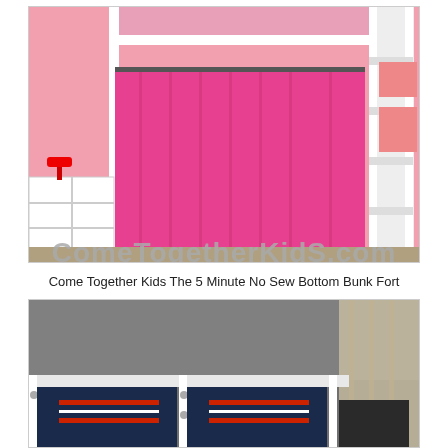[Figure (photo): A bunk bed loft with a pink curtain hanging beneath the top bunk creating a fort. White bed frame with ladder on right side. Pink walls, white shelving unit on left with a red lamp. The website watermark 'ComeTogetherKids.com' is displayed in gray text at the bottom of the photo.]
Come Together Kids The 5 Minute No Sew Bottom Bunk Fort
[Figure (photo): A bunk bed with dark navy/blue bedding visible beneath the white bed frame. Gray walls, curtains visible on the right side. The bottom bunk area is shown close up.]